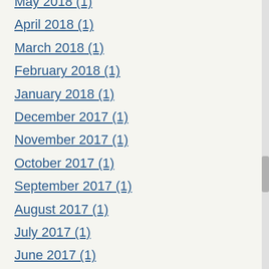May 2018 (1)
April 2018 (1)
March 2018 (1)
February 2018 (1)
January 2018 (1)
December 2017 (1)
November 2017 (1)
October 2017 (1)
September 2017 (1)
August 2017 (1)
July 2017 (1)
June 2017 (1)